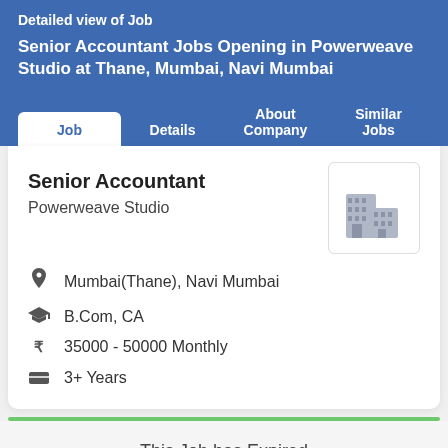Detailed view of Job
Senior Accountant Jobs Opening in Powerweave Studio at Thane, Mumbai, Navi Mumbai
Job | Details | About Company | Similar Jobs
Senior Accountant
Powerweave Studio
Mumbai(Thane), Navi Mumbai
B.Com, CA
35000 - 50000 Monthly
3+ Years
This Job has Expired